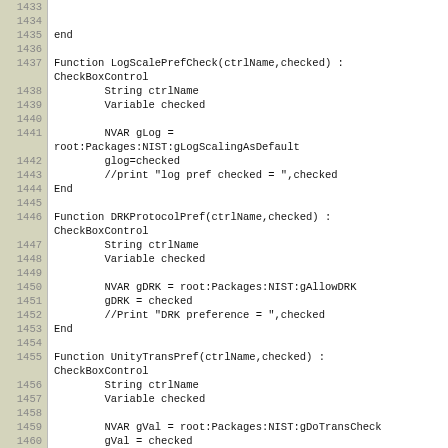Source code listing lines 1433-1461 showing Igor Pro functions: LogScalePrefCheck, DRKProtocolPref, UnityTransPref